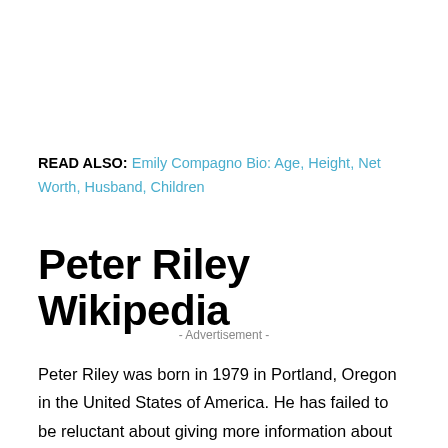READ ALSO: Emily Compagno Bio: Age, Height, Net Worth, Husband, Children
Peter Riley Wikipedia
- Advertisement -
Peter Riley was born in 1979 in Portland, Oregon in the United States of America. He has failed to be reluctant about giving more information about his siblings, parents, and his early childhood now.